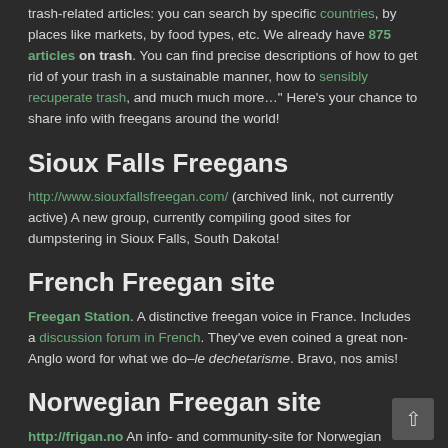trash-related articles: you can search by specific countries, by places like markets, by food types, etc. We already have 875 articles on trash. You can find precise descriptions of how to get rid of your trash in a sustainable manner, how to sensibly recuperate trash, and much much more…" Here's your chance to share info with freegans around the world!
Sioux Falls Freegans
http://www.siouxfallsfreegan.com/ (archived link, not currently active) A new group, currently compiling good sites for dumpstering in Sioux Falls, South Dakota!
French Freegan site
Freegan Station. A distinctive freegan voice in France. Includes a discussion forum in French. They've even coined a great non-Anglo word for what we do–le dechetarisme. Bravo, nos amis!
Norwegian Freegan site
http://frigan.no An info- and community-site for Norwegian freegans and others who want to hurt our planet as little as possible.